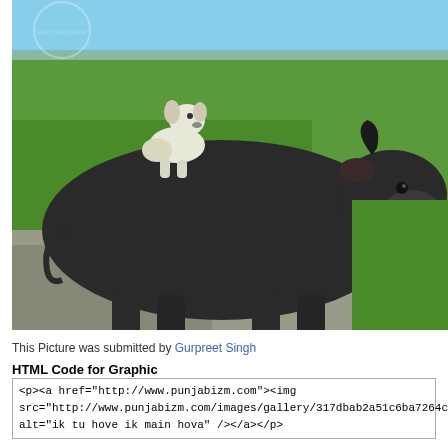[Figure (photo): A white dog sitting on the back of a large black water buffalo standing on a rural road, with green fields in the background and a clear sky.]
This Picture was submitted by Gurpreet Singh
HTML Code for Graphic
<p><a href="http://www.punjabizm.com"><img src="http://www.punjabizm.com/images/gallery/317dbab2a51c6ba7264c13 alt="ik tu hove ik main hova" /></a></p>